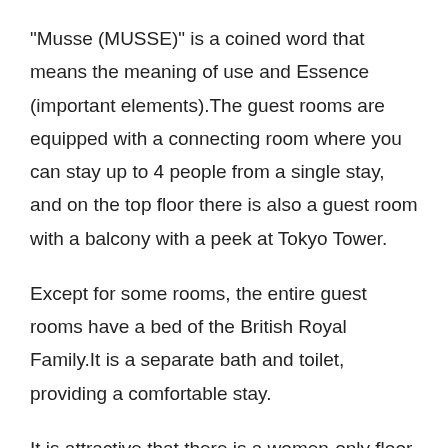“Musse (MUSSE)” is a coined word that means the meaning of use and Essence (important elements).The guest rooms are equipped with a connecting room where you can stay up to 4 people from a single stay, and on the top floor there is also a guest room with a balcony with a peek at Tokyo Tower.
Except for some rooms, the entire guest rooms have a bed of the British Royal Family.It is a separate bath and toilet, providing a comfortable stay.
It is attractive that there is a women-only floor with women only, and there is a women-only floor for women only.Please spend a pleasant trip to the Hotel Muse Ginza